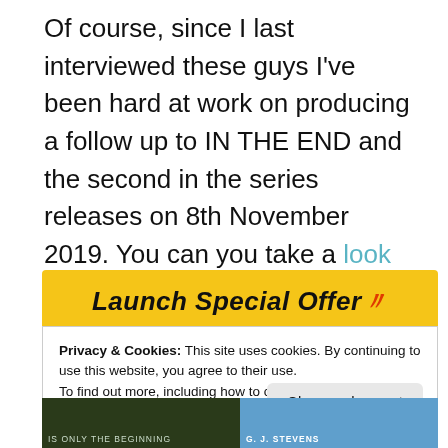Of course, since I last interviewed these guys I've been hard at work on producing a follow up to IN THE END and the second in the series releases on 8th November 2019. You can you take a look and pre-order here.
Launch Special Offer
Privacy & Cookies: This site uses cookies. By continuing to use this website, you agree to their use.
To find out more, including how to control cookies, see here: Privacy Policy
[Figure (other): Two book cover images partially visible at the bottom of the page, on a yellow background strip.]